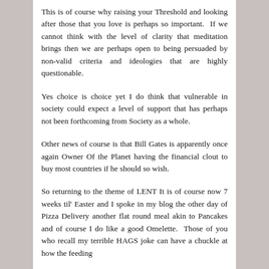This is of course why raising your Threshold and looking after those that you love is perhaps so important. If we cannot think with the level of clarity that meditation brings then we are perhaps open to being persuaded by non-valid criteria and ideologies that are highly questionable.
Yes choice is choice yet I do think that vulnerable in society could expect a level of support that has perhaps not been forthcoming from Society as a whole.
Other news of course is that Bill Gates is apparently once again Owner Of the Planet having the financial clout to buy most countries if he should so wish.
So returning to the theme of LENT It is of course now 7 weeks til' Easter and I spoke in my blog the other day of Pizza Delivery another flat round meal akin to Pancakes and of course I do like a good Omelette. Those of you who recall my terrible HAGS joke can have a chuckle at how the feeding…